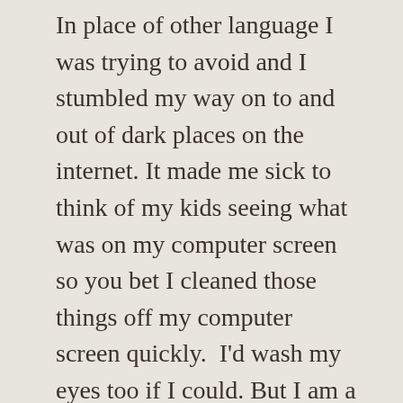In place of other language I was trying to avoid and I stumbled my way on to and out of dark places on the internet. It made me sick to think of my kids seeing what was on my computer screen so you bet I cleaned those things off my computer screen quickly.  I'd wash my eyes too if I could. But I am a very curious person and even now I am wondering why, what makes people think to use animals in risque ways? I'm not talking about dressing your dog in a skirt or your horse with a straw hat.
Then there is the line that grays greatly between smut, erotica, taboo erotica and words I refuse to post.
Here Blah. Next to describe the dark places on the...